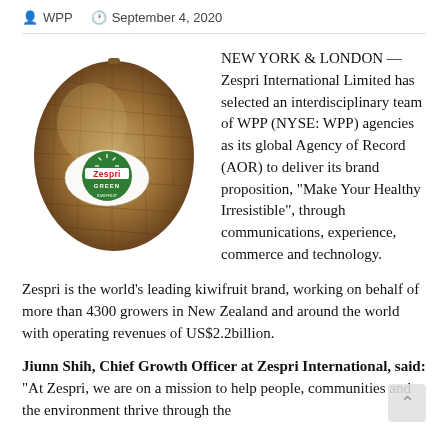WPP   September 4, 2020
[Figure (photo): A kiwifruit with a Zespri Green label sticker on it, displayed on a white background.]
NEW YORK & LONDON — Zespri International Limited has selected an interdisciplinary team of WPP (NYSE: WPP) agencies as its global Agency of Record (AOR) to deliver its brand proposition, “Make Your Healthy Irresistible”, through communications, experience, commerce and technology.
Zespri is the world’s leading kiwifruit brand, working on behalf of more than 4300 growers in New Zealand and around the world with operating revenues of US$2.2billion.
Jiunn Shih, Chief Growth Officer at Zespri International, said: “At Zespri, we are on a mission to help people, communities and the environment thrive through the